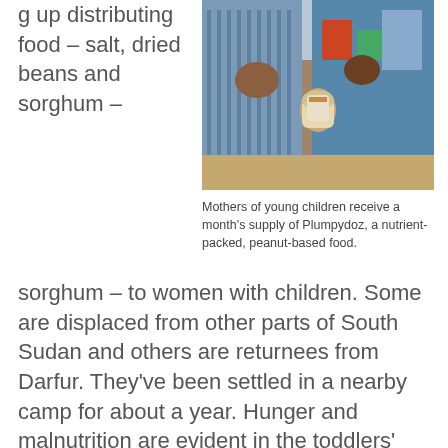g up distributing food – salt, dried beans and sorghum – to women with children. Some are displaced from other parts of South Sudan and others are returnees from Darfur. They've been settled in a nearby camp for about a year. Hunger and malnutrition are evident in the toddlers' patchy hair. This is the end of the hunger gap, which starts in April. The gardens are producing and the marketplace has peanuts, tomatoes, watermelons and cucumbers. But the families in the camp have no land to farm and no resources to buy food. The women greet us like long lost relatives; so
[Figure (photo): Mothers of young children receiving a month's supply of Plumpydoz, a nutrient-packed peanut-based food. Shows hands passing a container.]
Mothers of young children receive a month's supply of Plumpydoz, a nutrient-packed, peanut-based food.